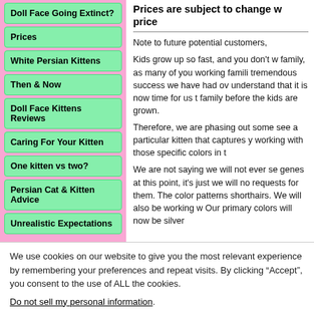Doll Face Going Extinct?
Prices
White Persian Kittens
Then & Now
Doll Face Kittens Reviews
Caring For Your Kitten
One kitten vs two?
Persian Cat & Kitten Advice
Unrealistic Expectations
Prices are subject to change w price
Note to future potential customers,
Kids grow up so fast, and you don't w family, as many of you working famili tremendous success we have had ov understand that it is now time for us t family before the kids are grown.
Therefore, we are phasing out some see a particular kitten that captures y working with those specific colors in t
We are not saying we will not ever se genes at this point, it's just we will no requests for them. The color patterns shorthairs. We will also be working w Our primary colors will now be silver
We use cookies on our website to give you the most relevant experience by remembering your preferences and repeat visits. By clicking “Accept”, you consent to the use of ALL the cookies.
Do not sell my personal information.